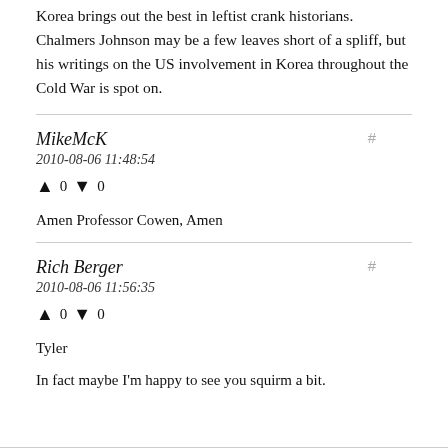Korea brings out the best in leftist crank historians. Chalmers Johnson may be a few leaves short of a spliff, but his writings on the US involvement in Korea throughout the Cold War is spot on.
MikeMcK
2010-08-06 11:48:54
↑ 0 ↓ 0
Amen Professor Cowen, Amen
Rich Berger
2010-08-06 11:56:35
↑ 0 ↓ 0
Tyler

In fact maybe I'm happy to see you squirm a bit.